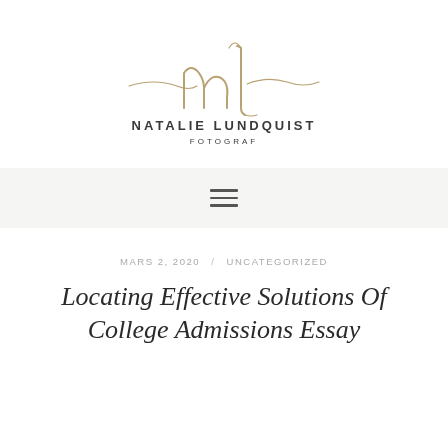[Figure (logo): Natalie Lundquist Fotograf logo with stylized 'nl' monogram in gold cursive script and decorative swoosh lines]
NATALIE LUNDQUIST
FOTOGRAF
[Figure (other): Hamburger menu icon with three horizontal lines on a light grey background navigation bar]
MARS 2, 2020 / UNCATEGORIZED
Locating Effective Solutions Of College Admissions Essay